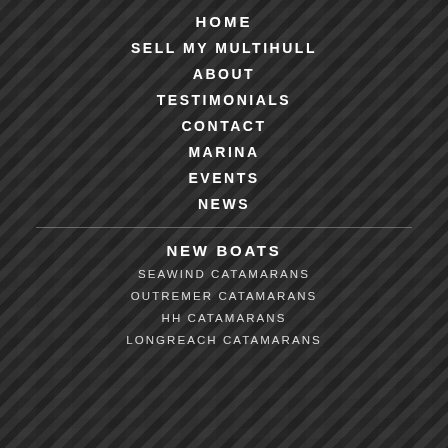HOME
SELL MY MULTIHULL
ABOUT
TESTIMONIALS
CONTACT
MARINA
EVENTS
NEWS
NEW BOATS
SEAWIND CATAMARANS
OUTREMER CATAMARANS
HH CATAMARANS
LONGREACH CATAMARANS